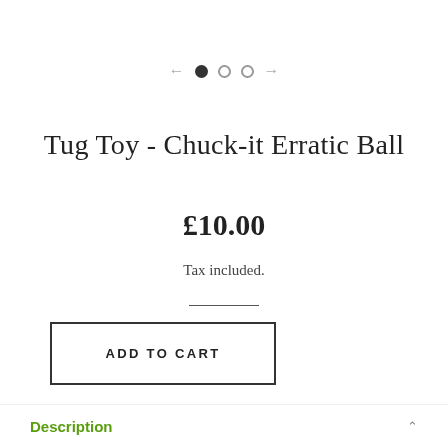[Figure (other): Carousel navigation with left arrow, one filled dot, two empty dots, right arrow]
Tug Toy - Chuck-it Erratic Ball
£10.00
Tax included.
ADD TO CART
Description